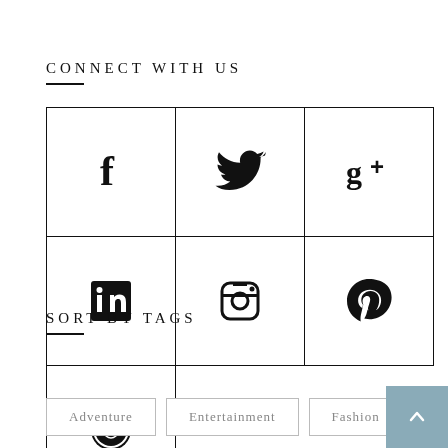CONNECT WITH US
[Figure (infographic): Seven social media icon boxes in a grid: Facebook, Twitter, Google+, LinkedIn, Instagram (top row), Pinterest, Reddit (bottom row). Each icon is in a square bordered box.]
SORT BY TAGS
Adventure
Entertainment
Fashion